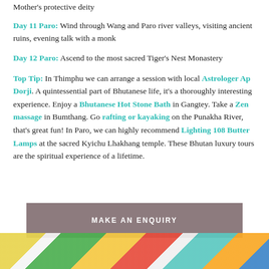Mother's protective deity
Day 11 Paro: Wind through Wang and Paro river valleys, visiting ancient ruins, evening talk with a monk
Day 12 Paro: Ascend to the most sacred Tiger's Nest Monastery
Top Tip: In Thimphu we can arrange a session with local Astrologer Ap Dorji. A quintessential part of Bhutanese life, it's a thoroughly interesting experience. Enjoy a Bhutanese Hot Stone Bath in Gangtey. Take a Zen massage in Bumthang. Go rafting or kayaking on the Punakha River, that's great fun! In Paro, we can highly recommend Lighting 108 Butter Lamps at the sacred Kyichu Lhakhang temple. These Bhutan luxury tours are the spiritual experience of a lifetime.
MAKE AN ENQUIRY
[Figure (photo): Colorful prayer flags, close-up photo at bottom of page]